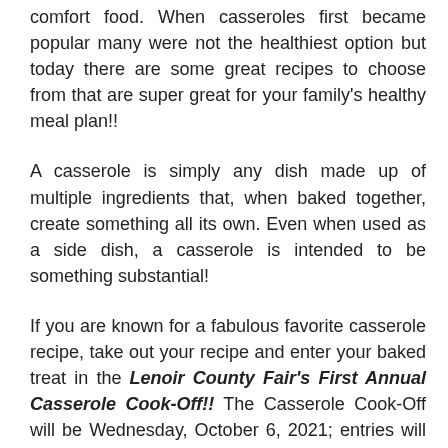comfort food. When casseroles first became popular many were not the healthiest option but today there are some great recipes to choose from that are super great for your family's healthy meal plan!!
A casserole is simply any dish made up of multiple ingredients that, when baked together, create something all its own. Even when used as a side dish, a casserole is intended to be something substantial!
If you are known for a fabulous favorite casserole recipe, take out your recipe and enter your baked treat in the Lenoir County Fair's First Annual Casserole Cook-Off!! The Casserole Cook-Off will be Wednesday, October 6, 2021; entries will be accepted at the Fairgrounds between 4:30 and 5 p.m. at the Main Entrance. For more details, rules, and regulations